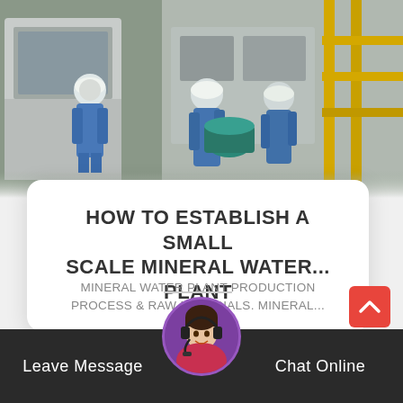[Figure (photo): Industrial plant workers in blue coveralls and hard hats working with machinery and equipment in a factory setting]
HOW TO ESTABLISH A SMALL SCALE MINERAL WATER... PLANT
MINERAL WATER PLANT PRODUCTION PROCESS & RAW MATERIALS. Mineral...
Read More >
Leave Message
[Figure (photo): Customer service representative avatar with headset]
Chat Online